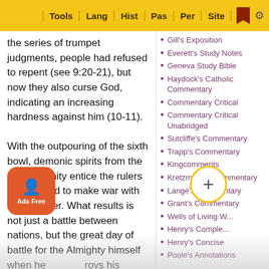Tools | Lang | Hist | Pas | Per | Site
the series of trumpet judgments, people had refused to repent (see 9:20-21), but now they also curse God, indicating an increasing hardness against him (10-11). With the outpouring of the sixth bowl, demonic spirits from the satanic trinity entice the rulers of the world to make war with one another. What results is not just a battle between nations, but the great day of battle for the Almighty himself when he destroys his enemies (12-14). Without warning God acts. The unexpectedness of his intervention... believers...
Gill's Exposition
Everett's Study Notes
Geneva Study Bible
Haydock's Catholic Commentary
Commentary Critical
Commentary Critical Unabridged
Sutcliffe's Commentary
Trapp's Commentary
Kingcomments
Kretzmann's Commentary
Lange's Commentary
Grant's Commentary
Wells of Living W...
Henry's Comple...
Henry's Concise
Poole's Annotations